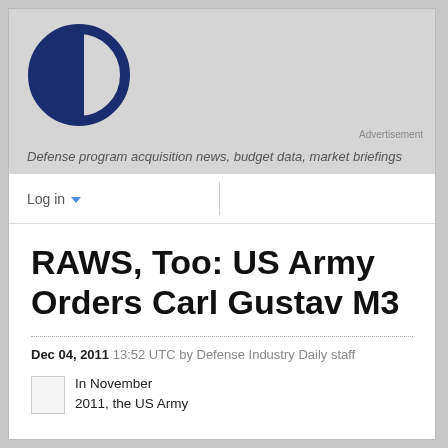[Figure (logo): Defense Industry Daily logo — dark navy circle with vertical bar through center]
Advertisement
Defense program acquisition news, budget data, market briefings
Log in ▾
RAWS, Too: US Army Orders Carl Gustav M3
Dec 04, 2011 13:52 UTC by Defense Industry Daily staff
In November 2011, the US Army